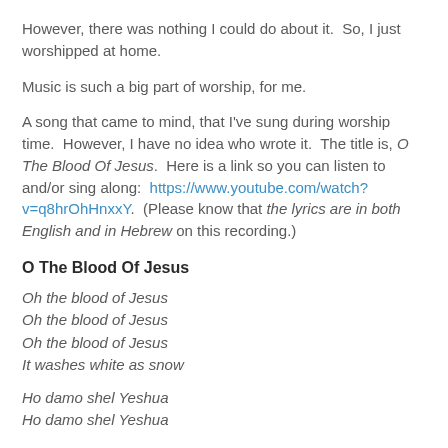However, there was nothing I could do about it.  So, I just worshipped at home.
Music is such a big part of worship, for me.
A song that came to mind, that I've sung during worship time.  However, I have no idea who wrote it.  The title is, O The Blood Of Jesus.  Here is a link so you can listen to and/or sing along:  https://www.youtube.com/watch?v=q8hrOhHnxxY.  (Please know that the lyrics are in both English and in Hebrew on this recording.)
O The Blood Of Jesus
Oh the blood of Jesus
Oh the blood of Jesus
Oh the blood of Jesus
It washes white as snow
Ho damo shel Yeshua
Ho damo shel Yeshua